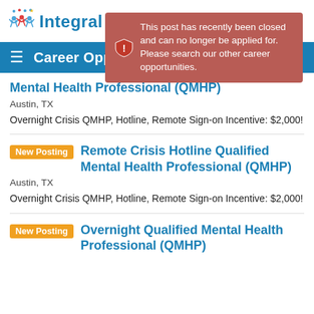[Figure (logo): Integral Care logo with colorful figures and blue text]
Career Opportunities
This post has recently been closed and can no longer be applied for. Please search our other career opportunities.
Mental Health Professional (QMHP)
Austin, TX
Overnight Crisis QMHP, Hotline, Remote Sign-on Incentive: $2,000!
Remote Crisis Hotline Qualified Mental Health Professional (QMHP)
Austin, TX
Overnight Crisis QMHP, Hotline, Remote Sign-on Incentive: $2,000!
Overnight Qualified Mental Health Professional (QMHP)